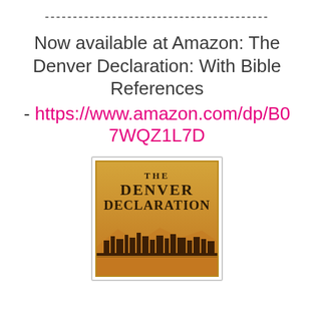----------------------------------------
Now available at Amazon: The Denver Declaration: With Bible References - https://www.amazon.com/dp/B07WQZ1L7D
[Figure (illustration): Book cover for 'The Denver Declaration' showing an orange/golden background with a city skyline silhouette and the title text.]